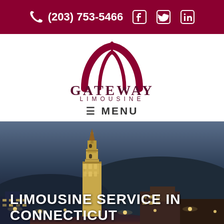(203) 753-5466 [phone icon, facebook, twitter, linkedin]
[Figure (logo): Gateway Limousine logo with arch/dome graphic above the text GATEWAY LIMOUSINE in dark red/maroon]
≡ MENU
[Figure (photo): Nighttime cityscape of a Connecticut city (likely Waterbury) featuring a tall illuminated tower/clock tower, city lights, hills in the background, and brick buildings in the foreground]
LIMOUSINE SERVICE IN CONNECTICUT